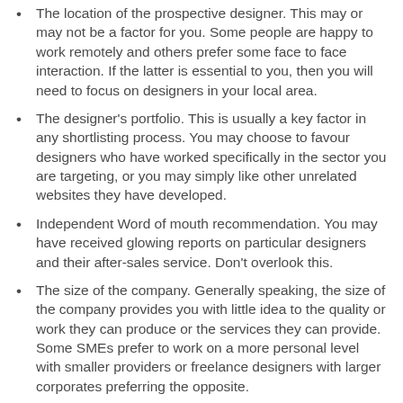The location of the prospective designer. This may or may not be a factor for you. Some people are happy to work remotely and others prefer some face to face interaction. If the latter is essential to you, then you will need to focus on designers in your local area.
The designer's portfolio. This is usually a key factor in any shortlisting process. You may choose to favour designers who have worked specifically in the sector you are targeting, or you may simply like other unrelated websites they have developed.
Independent Word of mouth recommendation. You may have received glowing reports on particular designers and their after-sales service. Don't overlook this.
The size of the company. Generally speaking, the size of the company provides you with little idea to the quality or work they can produce or the services they can provide. Some SMEs prefer to work on a more personal level with smaller providers or freelance designers with larger corporates preferring the opposite.